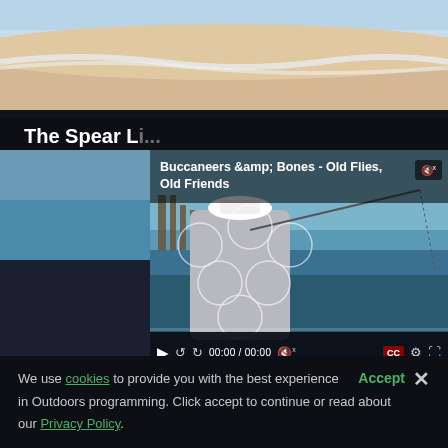[Figure (photo): Beach scene showing sand and ocean waves at the top of the page]
The Spear Li...
[Figure (screenshot): Video player popup overlaid on a fishing scene photo. Video title: 'Buccaneers &amp; Bones - Old Flies, Old Friends'. Controls show 00:00 / 00:00 with play, rewind, forward, mute, CC, settings, and fullscreen buttons.]
We use cookies to provide you with the best experience Accept in Outdoors programming. Click accept to continue or read about our Privacy Policy.